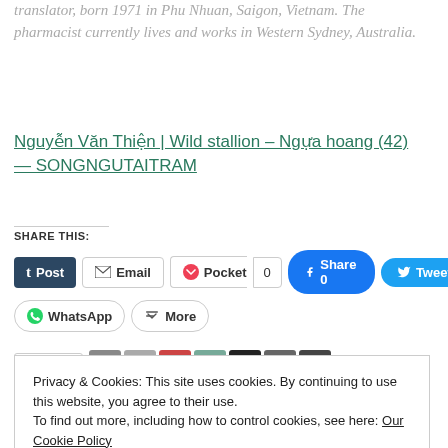translator, born 1971 in Phu Nhuan, Saigon, Vietnam. The pharmacist currently lives and works in Western Sydney, Australia.
Nguyễn Văn Thiện | Wild stallion – Ngựa hoang (42) — SONGNGUTAITRAM
SHARE THIS:
[Figure (screenshot): Social share buttons: Post (Tumblr), Email, Pocket with count 0, Facebook Share 0, Tweet, WhatsApp, More]
Privacy & Cookies: This site uses cookies. By continuing to use this website, you agree to their use. To find out more, including how to control cookies, see here: Our Cookie Policy
Close and accept